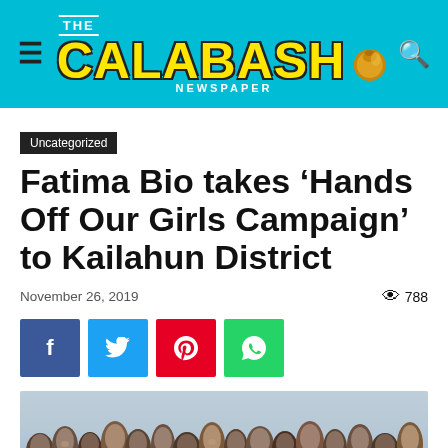THE CALABASH NEWSPAPER
Uncategorized
Fatima Bio takes ‘Hands Off Our Girls Campaign’ to Kailahun District
November 26, 2019
788
[Figure (photo): Crowd of people, likely at a community gathering or campaign event in Kailahun District, Sierra Leone]